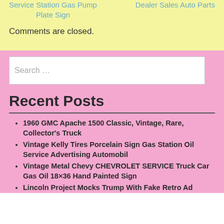Service Station Gas Pump Plate Sign
Dealer Sales Auto Parts
Comments are closed.
Search …
Recent Posts
1960 GMC Apache 1500 Classic, Vintage, Rare, Collector's Truck
Vintage Kelly Tires Porcelain Sign Gas Station Oil Service Advertising Automobil
Vintage Metal Chevy CHEVROLET SERVICE Truck Car Gas Oil 18×36 Hand Painted Sign
Lincoln Project Mocks Trump With Fake Retro Ad